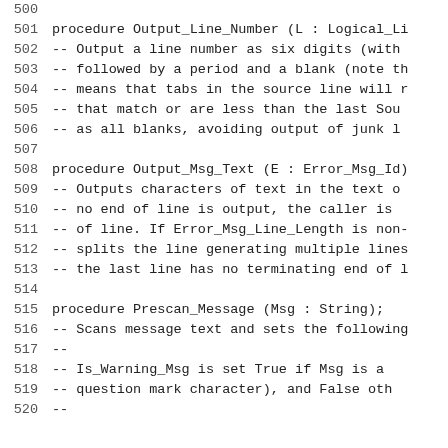500
501    procedure Output_Line_Number (L : Logical_Li
502    --  Output a line number as six digits (with
503    --  followed by a period and a blank (note th
504    --  means that tabs in the source line will r
505    --  that match or are less than the last Sou
506    --  as all blanks, avoiding output of junk l
507
508    procedure Output_Msg_Text (E : Error_Msg_Id)
509    --  Outputs characters of text in the text o
510    --  no end of line is output, the caller is
511    --  of line. If Error_Msg_Line_Length is non-
512    --  splits the line generating multiple lines
513    --  the last line has no terminating end of l
514
515    procedure Prescan_Message (Msg : String);
516    --  Scans message text and sets the following
517    --
518    --      Is_Warning_Msg is set True if Msg is a
519    --      question mark character), and False oth
520    --